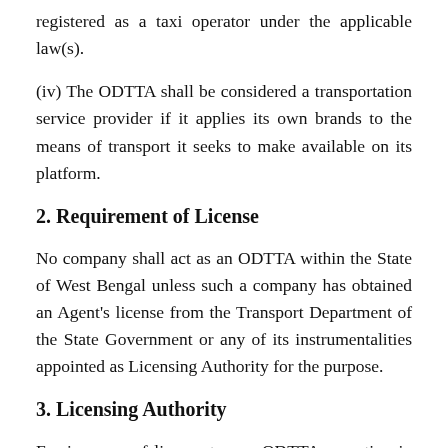registered as a taxi operator under the applicable law(s).
(iv) The ODTTA shall be considered a transportation service provider if it applies its own brands to the means of transport it seeks to make available on its platform.
2. Requirement of License
No company shall act as an ODTTA within the State of West Bengal unless such a company has obtained an Agent's license from the Transport Department of the State Government or any of its instrumentalities appointed as Licensing Authority for the purpose.
3. Licensing Authority
For issuance of license to any ODTTA operating in the State, the State Government in the Transport Department or any of its instrumentalities appointed for the purpose shall be the